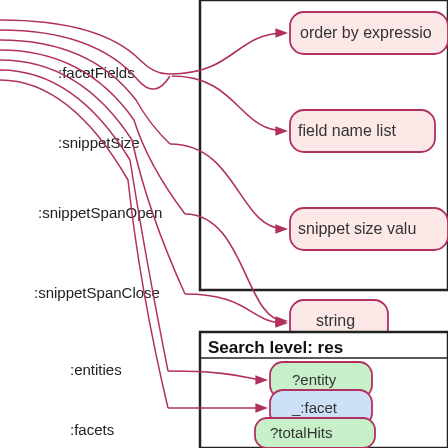[Figure (network-graph): A diagram showing a schema/ontology graph. Left side shows edge labels: :facetFields, :snippetSize, :snippetSpanOpen, :snippetSpanClose, :entities, :facets, :totalHits. Lines connect from the left to nodes on the right. Upper right area shows a box (partially cut off at right) with nodes: 'order by expression' (pink rounded rectangle, partially visible), 'field name list' (pink rounded rectangle), 'snippet size value' (pink, partially cut off), 'string' (pink rounded rectangle). Lower right shows a box labeled 'Search level: res...' containing nodes: '?entity' (green rounded rectangle), '_:facet' (blue rounded rectangle), '?totalHits' (green rounded rectangle). Arrows point from edge labels to the corresponding nodes.]